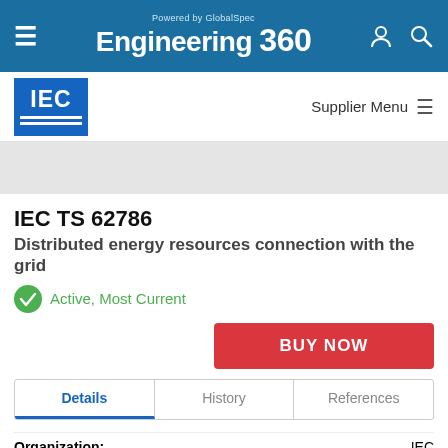Powered by GlobalSpec Engineering 360
[Figure (logo): IEC logo — blue square with IEC text and two white horizontal lines]
Supplier Menu
IEC TS 62786
Distributed energy resources connection with the grid
Active, Most Current
BUY NOW
Details  History  References
Organization: IEC
Publication Date: 1 April 2017